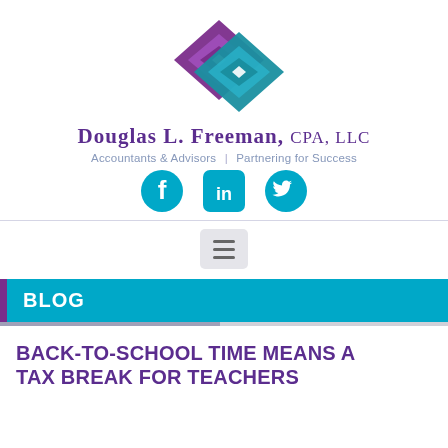[Figure (logo): Douglas L. Freeman CPA LLC logo — two overlapping diamond shapes, one purple and one teal/blue, interlinked]
Douglas L. Freeman, CPA, LLC
Accountants & Advisors | Partnering for Success
[Figure (infographic): Three social media icons: Facebook (circle), LinkedIn (rounded square), Twitter (bird) — all teal/cyan color]
[Figure (infographic): Hamburger menu button (three horizontal lines) on a light gray rounded rectangle background]
BLOG
BACK-TO-SCHOOL TIME MEANS A TAX BREAK FOR TEACHERS